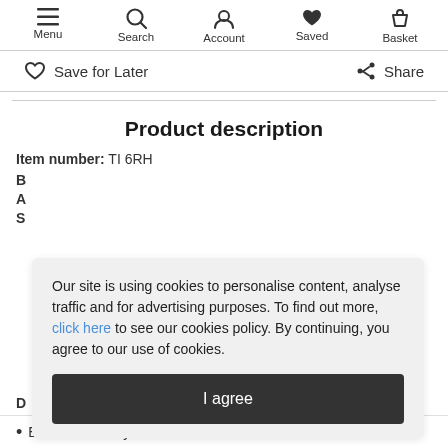Menu  Search  Account  Saved  Basket
Save for Later  Share
Product description
Item number: TI 6RH
Our site is using cookies to personalise content, analyse traffic and for advertising purposes. To find out more, click here to see our cookies policy. By continuing, you agree to our use of cookies.
I agree
End Use: Lifestyle